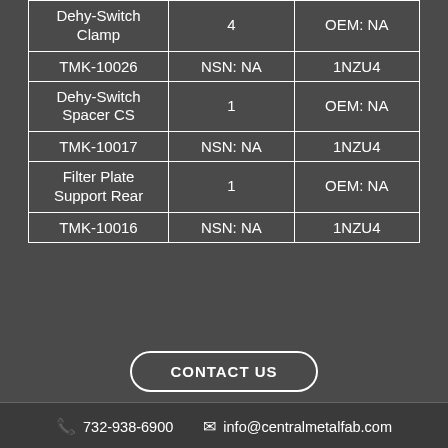| Name | Qty / NSN | OEM / Part |
| --- | --- | --- |
| Dehy-Switch Clamp | 4 | OEM: NA |
| TMK-10026 | NSN: NA | 1NZU4 |
| Dehy-Switch Spacer CS | 1 | OEM: NA |
| TMK-10017 | NSN: NA | 1NZU4 |
| Filter Plate Support Rear | 1 | OEM: NA |
| TMK-10016 | NSN: NA | 1NZU4 |
CONTACT US
732-938-6900  info@centralmetalfab.com